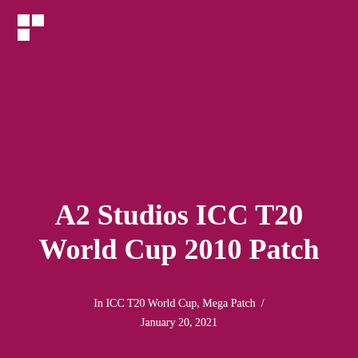[Figure (logo): White logo mark consisting of two small squares arranged in an L/grid pattern in the top-left corner]
A2 Studios ICC T20 World Cup 2010 Patch
In ICC T20 World Cup, Mega Patch  /  January 20, 2021